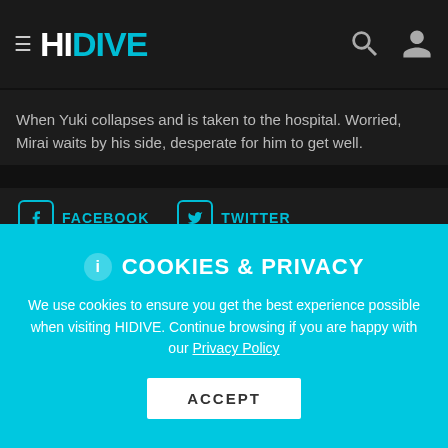HIDIVE - MORNING
When Yuki collapses and is taken to the hospital. Worried, Mirai waits by his side, desperate for him to get well.
FACEBOOK   TWITTER
SEASON 1 | 11 EPISODES
[Figure (screenshot): Two anime video thumbnails showing characters from the series]
COOKIES & PRIVACY
We use cookies to ensure you get the best experience possible when visiting HIDIVE. Continue browsing if you are happy with our Privacy Policy
ACCEPT